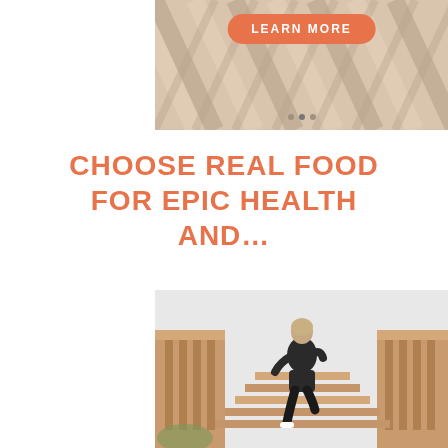[Figure (photo): Top portion of a photo showing woven/braided textile or material in beige/tan tones, partially visible at top of page]
LEARN MORE
CHOOSE REAL FOOD FOR EPIC HEALTH AND...
[Figure (photo): A woman in dark athletic wear (sports bra and shorts) seen from behind, running up wooden stairs/bleachers against a light grey sky]